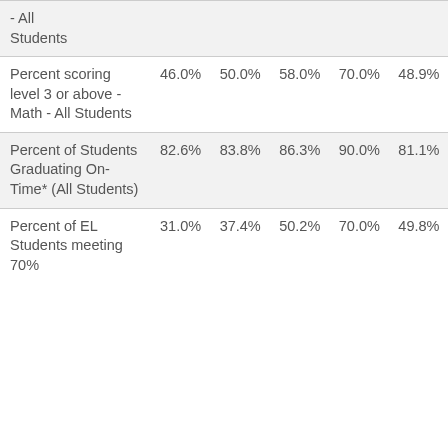| - All Students |  |  |  |  |  |
| Percent scoring level 3 or above - Math - All Students | 46.0% | 50.0% | 58.0% | 70.0% | 48.9% |
| Percent of Students Graduating On-Time* (All Students) | 82.6% | 83.8% | 86.3% | 90.0% | 81.1% |
| Percent of EL Students meeting 70% | 31.0% | 37.4% | 50.2% | 70.0% | 49.8% |